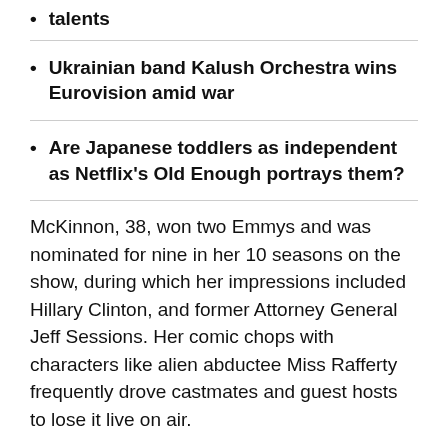talents
Ukrainian band Kalush Orchestra wins Eurovision amid war
Are Japanese toddlers as independent as Netflix's Old Enough portrays them?
McKinnon, 38, won two Emmys and was nominated for nine in her 10 seasons on the show, during which her impressions included Hillary Clinton, and former Attorney General Jeff Sessions. Her comic chops with characters like alien abductee Miss Rafferty frequently drove castmates and guest hosts to lose it live on air.
McKinnon opened the show with an out-of-this-world skit, and said her final goodbyes on